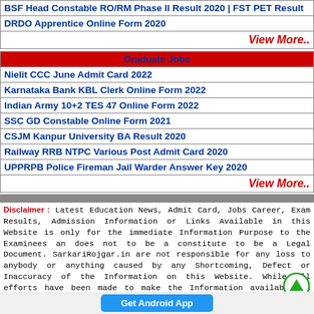| BSF Head Constable RO/RM Phase II Result 2020 | FST PET Result |
| DRDO Apprentice Online Form 2020 |
| View More.. |
| Graduate Jobs |
| --- |
| Nielit CCC June Admit Card 2022 |
| Karnataka Bank KBL Clerk Online Form 2022 |
| Indian Army 10+2 TES 47 Online Form 2022 |
| SSC GD Constable Online Form 2021 |
| CSJM Kanpur University BA Result 2020 |
| Railway RRB NTPC Various Post Admit Card 2020 |
| UPPRPB Police Fireman Jail Warder Answer Key 2020 |
| View More.. |
Disclaimer : Latest Education News, Admit Card, Jobs Career, Exam Results, Admission Information or Links Available in this Website is only for the immediate Information Purpose to the Examinees an does not to be a constitute to be a Legal Document. SarkariRojgar.in are not responsible for any loss to anybody or anything caused by any Shortcoming, Defect or Inaccuracy of the Information on this Website. While all efforts have been made to make the Information available on this Website as Authentic as possible.
Get Android App